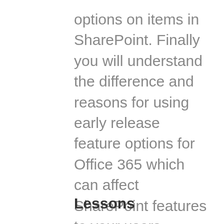options on items in SharePoint. Finally you will understand the difference and reasons for using early release feature options for Office 365 which can affect SharePoint features to your users.
Lessons